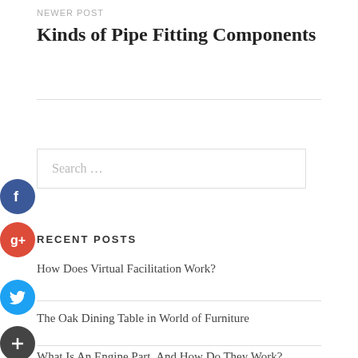NEWER POST
Kinds of Pipe Fitting Components
Search ...
RECENT POSTS
How Does Virtual Facilitation Work?
The Oak Dining Table in World of Furniture
What Is An Engine Part, And How Do They Work?